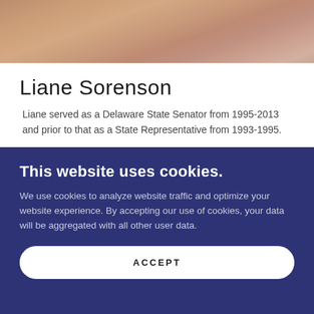[Figure (photo): Close-up photo of a person's face, cropped showing forehead and lower face area with warm skin tones]
Liane Sorenson
Liane served as a Delaware State Senator from 1995-2013 and prior to that as a State Representative from 1993-1995.
This website uses cookies.
We use cookies to analyze website traffic and optimize your website experience. By accepting our use of cookies, your data will be aggregated with all other user data.
ACCEPT